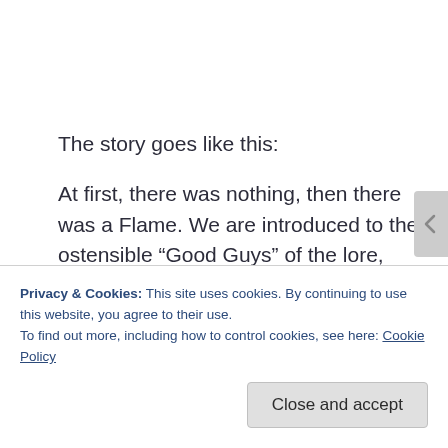The story goes like this:
At first, there was nothing, then there was a Flame. We are introduced to the ostensible “Good Guys” of the lore, those who created the world as it is. The gods, basically. Lord Gwyn created Fire, which subsequently created Light and Dark. Along with Nito, the Witch Izaleth, Seath the Scaleless, and something called “the furtive pygmy,” they
Privacy & Cookies: This site uses cookies. By continuing to use this website, you agree to their use.
To find out more, including how to control cookies, see here: Cookie Policy
Close and accept